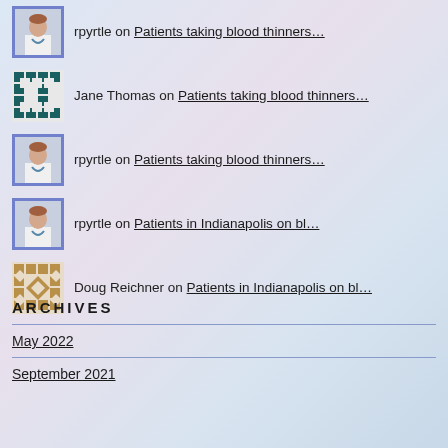rpyrtle on Patients taking blood thinners...
Jane Thomas on Patients taking blood thinners...
rpyrtle on Patients taking blood thinners...
rpyrtle on Patients in Indianapolis on bl...
Doug Reichner on Patients in Indianapolis on bl...
ARCHIVES
May 2022
September 2021